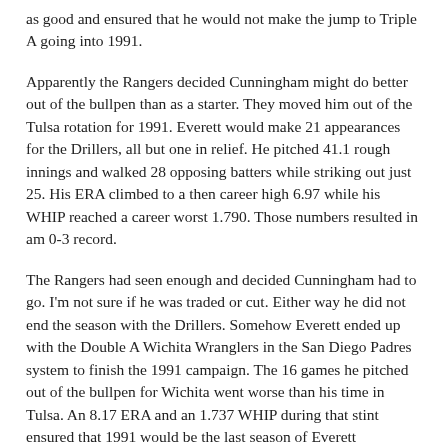as good and ensured that he would not make the jump to Triple A going into 1991.
Apparently the Rangers decided Cunningham might do better out of the bullpen than as a starter. They moved him out of the Tulsa rotation for 1991. Everett would make 21 appearances for the Drillers, all but one in relief. He pitched 41.1 rough innings and walked 28 opposing batters while striking out just 25. His ERA climbed to a then career high 6.97 while his WHIP reached a career worst 1.790. Those numbers resulted in am 0-3 record.
The Rangers had seen enough and decided Cunningham had to go. I'm not sure if he was traded or cut. Either way he did not end the season with the Drillers. Somehow Everett ended up with the Double A Wichita Wranglers in the San Diego Padres system to finish the 1991 campaign. The 16 games he pitched out of the bullpen for Wichita went worse than his time in Tulsa. An 8.17 ERA and an 1.737 WHIP during that stint ensured that 1991 would be the last season of Everett Cunningham's pro career.